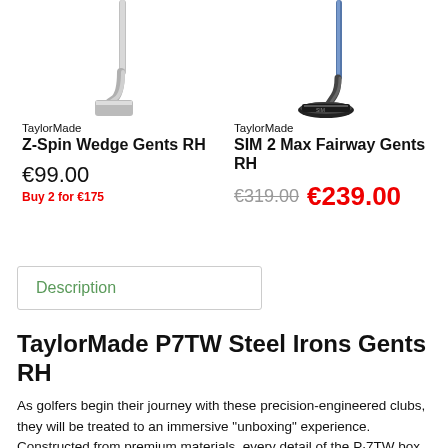[Figure (photo): TaylorMade Z-Spin Wedge club head and shaft, cropped product photo on white background]
[Figure (photo): TaylorMade SIM 2 Max Fairway wood club head and shaft, cropped product photo on white background]
TaylorMade
Z-Spin Wedge Gents RH
€99.00
Buy 2 for €175
TaylorMade
SIM 2 Max Fairway Gents RH
€319.00  €239.00
Description
TaylorMade P7TW Steel Irons Gents RH
As golfers begin their journey with these precision-engineered clubs, they will be treated to an immersive "unboxing" experience. Constructed from premium materials, every detail of the P·7TW box has been carefully considered to unveil these irons in a way that pays